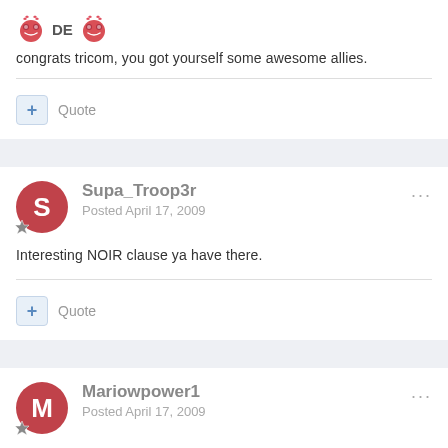[Figure (illustration): Two red emoji faces with heart eyes flanking the text 'DE']
congrats tricom, you got yourself some awesome allies.
+ Quote
Supa_Troop3r
Posted April 17, 2009
Interesting NOIR clause ya have there.
+ Quote
Mariowpower1
Posted April 17, 2009